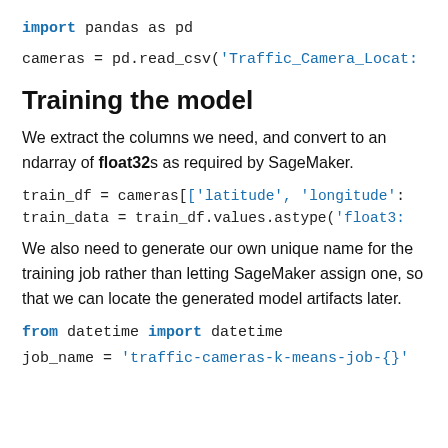import pandas as pd
cameras = pd.read_csv('Traffic_Camera_Locat...
Training the model
We extract the columns we need, and convert to an ndarray of float32s as required by SageMaker.
train_df = cameras[['latitude', 'longitude'...
train_data = train_df.values.astype('float32...
We also need to generate our own unique name for the training job rather than letting SageMaker assign one, so that we can locate the generated model artifacts later.
from datetime import datetime
job_name = 'traffic-cameras-k-means-job-{}'